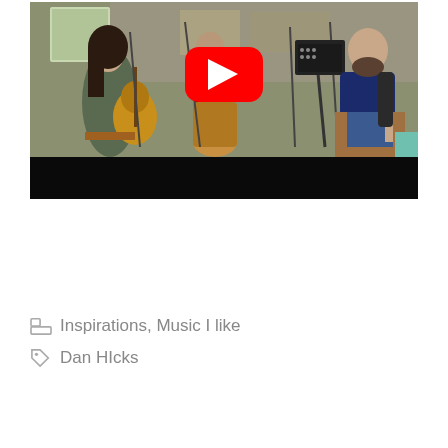[Figure (screenshot): A YouTube video thumbnail showing a band playing music indoors. On the left, a woman plays acoustic guitar seated. In the center background, a person stands at a drum (djembe). On the right, a bald man with a beard sits playing an electric guitar. Microphone stands and a music stand are visible. A red YouTube play button overlay is centered on the image. The bottom portion of the thumbnail is black (letterbox).]
Inspirations, Music I like
Dan HIcks